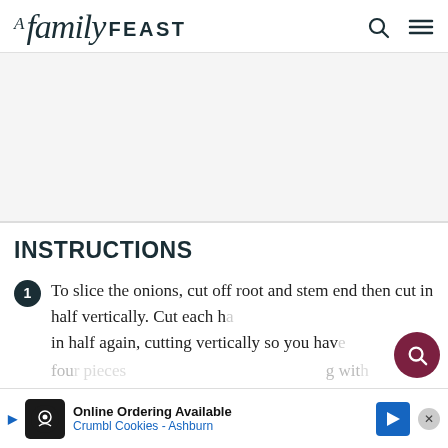A family FEAST
INSTRUCTIONS
To slice the onions, cut off root and stem end then cut in half vertically. Cut each half in half again, cutting vertically so you have four pieces, ending with...
[Figure (screenshot): Crumbl Cookies advertisement banner: Online Ordering Available, Crumbl Cookies - Ashburn]